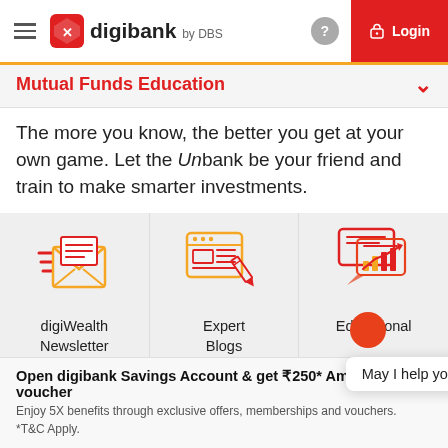digibank by DBS — Login
Mutual Funds Education
The more you know, the better you get at your own game. Let the Unbank be your friend and train to make smarter investments.
[Figure (illustration): Three icon cards on a grey background: 1) digiWealth Newsletter (envelope with letter icon, orange/red), 2) Expert Blogs (web browser with pencil icon, orange/red), 3) Educational (speech bubble with bar chart icon, orange/red). A white tooltip box reads 'May I help you?']
Open digibank Savings Account & get ₹250* Amazon voucher
Enjoy 5X benefits through exclusive offers, memberships and vouchers. *T&C Apply.